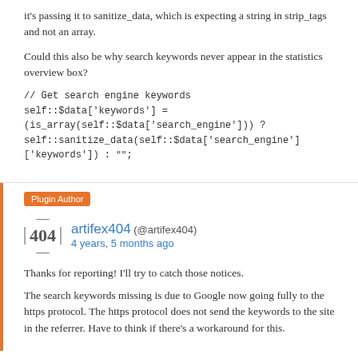it's passing it to sanitize_data, which is expecting a string in strip_tags and not an array.
Could this also be why search keywords never appear in the statistics overview box?
// Get search engine keywords
self::$data['keywords'] = (is_array(self::$data['search_engine'])) ?
self::sanitize_data(self::$data['search_engine']['keywords']) : "";
Plugin Author
artifex404 (@artifex404)
4 years, 5 months ago
Thanks for reporting! I'll try to catch those notices.
The search keywords missing is due to Google now going fully to the https protocol. The https protocol does not send the keywords to the site in the referrer. Have to think if there's a workaround for this.